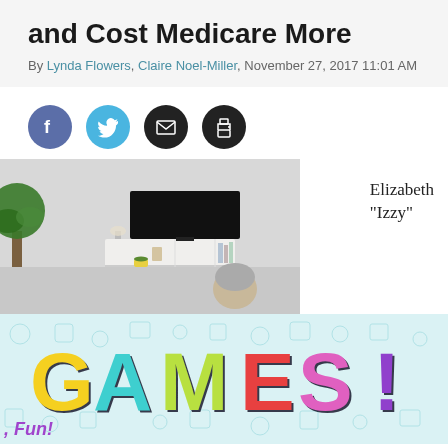and Cost Medicare More
By Lynda Flowers, Claire Noel-Miller, November 27, 2017 11:01 AM
[Figure (infographic): Social media sharing icons: Facebook (blue), Twitter (cyan), Email (black), Print (black)]
[Figure (photo): Elderly person sitting in front of a TV in a living room with a plant and white media console]
Elizabeth "Izzy"
[Figure (infographic): Colorful GAMES! logo with multicolored block letters on a light blue background with gaming icons]
, Fun!